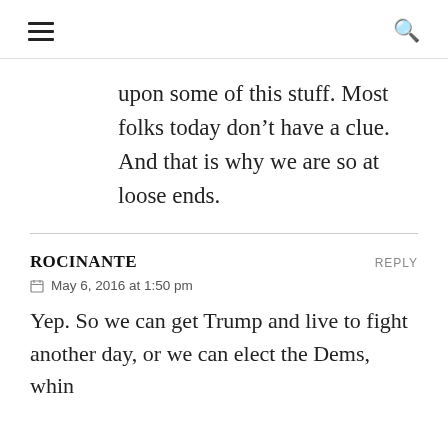≡   🔍
upon some of this stuff. Most folks today don't have a clue. And that is why we are so at loose ends.
ROCINANTE   REPLY
📅 May 6, 2016 at 1:50 pm
Yep. So we can get Trump and live to fight another day, or we can elect the Dems, whin